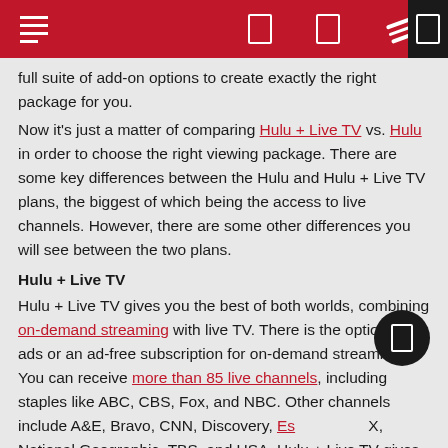Navigation bar with hamburger menu, icons, and Ericsson-style logo
full suite of add-on options to create exactly the right package for you.
Now it's just a matter of comparing Hulu + Live TV vs. Hulu in order to choose the right viewing package. There are some key differences between the Hulu and Hulu + Live TV plans, the biggest of which being the access to live channels. However, there are some other differences you will see between the two plans.
Hulu + Live TV
Hulu + Live TV gives you the best of both worlds, combining on-demand streaming with live TV. There is the option of ads or an ad-free subscription for on-demand streaming. You can receive more than 85 live channels, including staples like ABC, CBS, Fox, and NBC. Other channels include A&E, Bravo, CNN, Discovery, ESPN, FX, National Geographic, TBS, and USA. Hulu + Live TV gives you the option to upgrade to premium networks on an a la carte basis, including HBO Max, Cinemax, Showtime, and